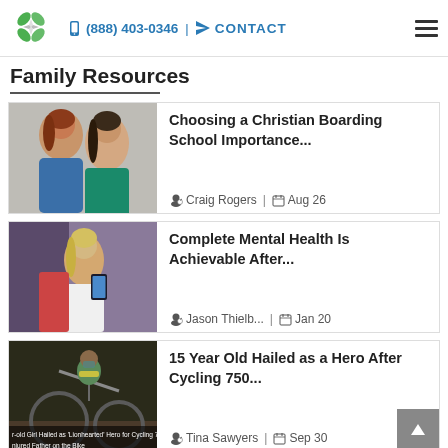(888) 403-0346 | CONTACT
Family Resources
[Figure (photo): Two smiling women/girls outdoors]
Choosing a Christian Boarding School Importance...
Craig Rogers | Aug 26
[Figure (photo): Young woman using a phone indoors]
Complete Mental Health Is Achievable After...
Jason Thielb... | Jan 20
[Figure (photo): Person on a bicycle, caption: Girl Hailed as 'Lionhearted' Hero for Cycling 750... Injured Father on the Bike]
15 Year Old Hailed as a Hero After Cycling 750...
Tina Sawyers | Sep 30